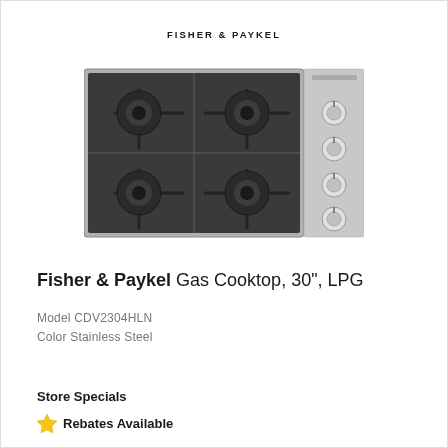FISHER & PAYKEL
[Figure (photo): Fisher & Paykel 30-inch gas cooktop with 4 burners and control knobs on the right side, stainless steel finish]
Fisher & Paykel Gas Cooktop, 30", LPG
Model CDV2304HLN
Color Stainless Steel
Store Specials
Rebates Available